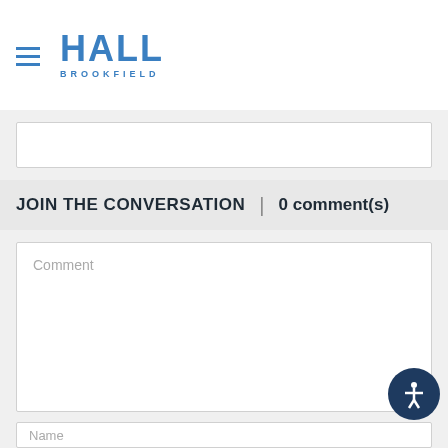HALL BROOKFIELD
JOIN THE CONVERSATION | 0 comment(s)
Comment
Name